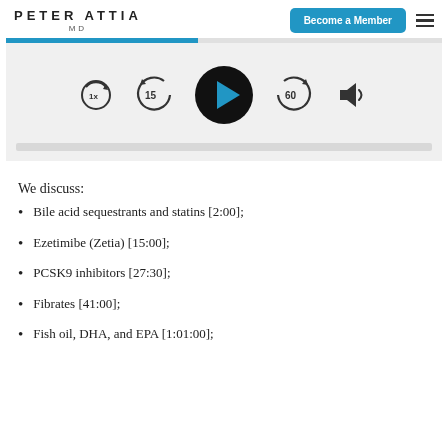PETER ATTIA MD
[Figure (screenshot): Audio player controls showing: 1x speed button, rewind 15 seconds button, play button (large black circle with blue triangle), fast forward 60 seconds button, and volume button. Progress bar at top partially filled in blue.]
We discuss:
Bile acid sequestrants and statins [2:00];
Ezetimibe (Zetia) [15:00];
PCSK9 inhibitors [27:30];
Fibrates [41:00];
Fish oil, DHA, and EPA [1:01:00];